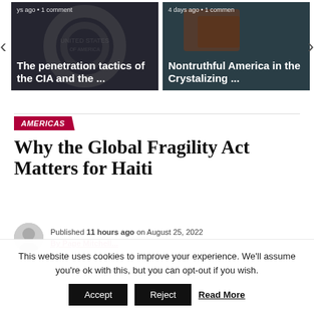[Figure (screenshot): Carousel card: CIA logo image with text overlay 'The penetration tactics of the CIA and the ...' and meta 'ys ago • 1 comment']
[Figure (screenshot): Carousel card: dark image with text overlay 'Nontruthful America in the Crystalizing ...' and meta '4 days ago • 1 comment']
AMERICAS
Why the Global Fragility Act Matters for Haiti
Published 11 hours ago on August 25, 2022
This website uses cookies to improve your experience. We'll assume you're ok with this, but you can opt-out if you wish.